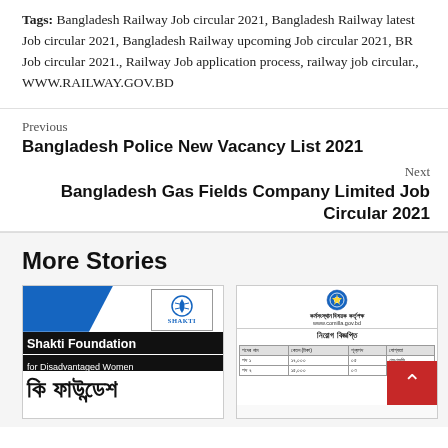Tags: Bangladesh Railway Job circular 2021, Bangladesh Railway latest Job circular 2021, Bangladesh Railway upcoming Job circular 2021, BR Job circular 2021., Railway Job application process, railway job circular., WWW.RAILWAY.GOV.BD
Previous
Bangladesh Police New Vacancy List 2021
Next
Bangladesh Gas Fields Company Limited Job Circular 2021
More Stories
[Figure (photo): Shakti Foundation for Disadvantaged Women logo and Bangla text thumbnail]
[Figure (photo): Bangladesh government job circular document thumbnail with table]